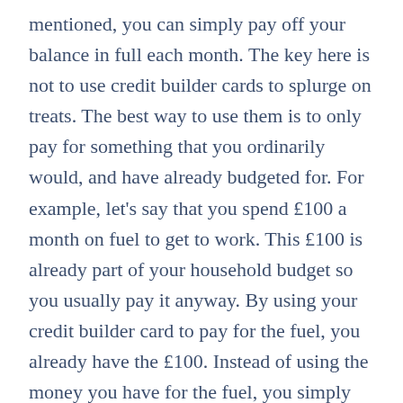mentioned, you can simply pay off your balance in full each month. The key here is not to use credit builder cards to splurge on treats. The best way to use them is to only pay for something that you ordinarily would, and have already budgeted for. For example, let's say that you spend £100 a month on fuel to get to work. This £100 is already part of your household budget so you usually pay it anyway. By using your credit builder card to pay for the fuel, you already have the £100. Instead of using the money you have for the fuel, you simply use it to pay off your credit card balance and avoid any interest.
But let me not leave all the help you can get to just